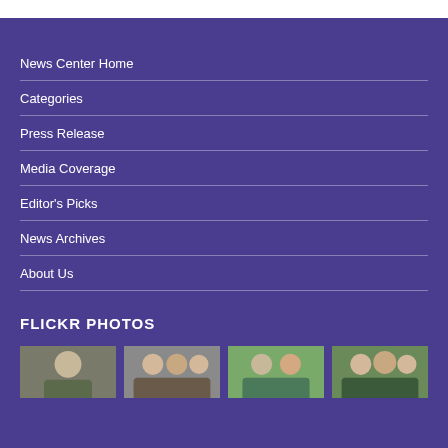News Center Home
Categories
Press Release
Media Coverage
Editor's Picks
News Archives
About Us
FLICKR PHOTOS
[Figure (photo): Four thumbnail photos of groups of people outdoors]
[Figure (photo): Group of women smiling]
[Figure (photo): People outdoors with trees]
[Figure (photo): People outdoors]